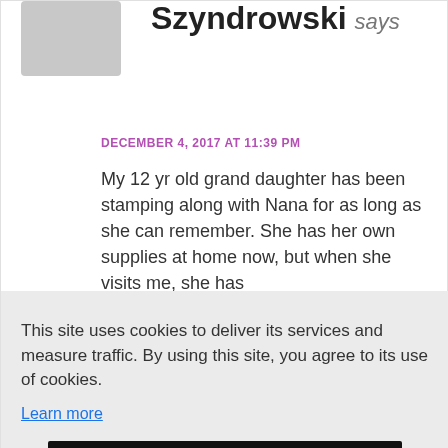Szyndrowski says
DECEMBER 4, 2017 AT 11:39 PM
My 12 yr old grand daughter has been stamping along with Nana for as long as she can remember. She has her own supplies at home now, but when she visits me, she has
This site uses cookies to deliver its services and measure traffic. By using this site, you agree to its use of cookies.
Learn more
Got it!